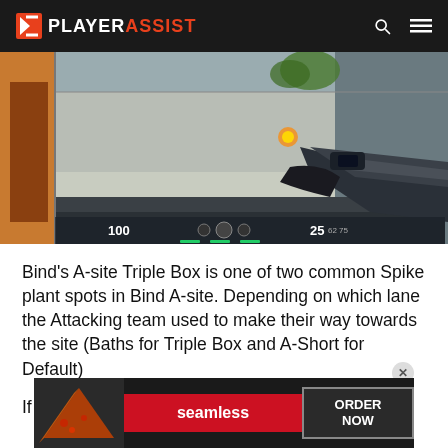PLAYERASSIST
[Figure (screenshot): First-person shooter game screenshot from Valorant showing player holding a rifle, with HUD displaying 100 HP and 25 ammo]
Bind's A-site Triple Box is one of two common Spike plant spots in Bind A-site. Depending on which lane the Attacking team used to make their way towards the site (Baths for Triple Box and A-Short for Default)
If you happen to be playing from A-Towe
[Figure (infographic): Seamless food delivery advertisement banner with pizza image, Seamless red logo, and ORDER NOW button]